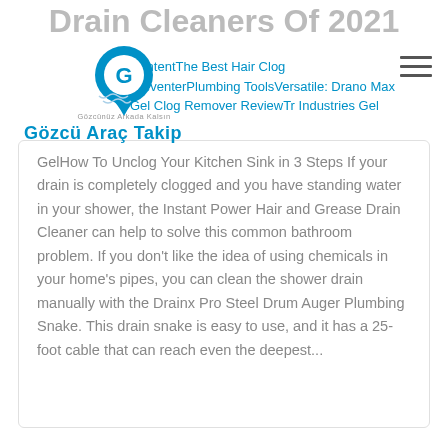Drain Cleaners Of 2021
[Figure (logo): Gözcü Araç Takip logo with blue map pin icon, tagline 'Gözcünüz Arkada Kalsın', and blue bold company name]
ContentThe Best Hair Clog PreventerPlumbing ToolsVersatile: Drano Max Gel Clog Remover ReviewTr Industries Gel
How To Unclog Your Kitchen Sink in 3 Steps If your drain is completely clogged and you have standing water in your shower, the Instant Power Hair and Grease Drain Cleaner can help to solve this common bathroom problem. If you don't like the idea of using chemicals in your home's pipes, you can clean the shower drain manually with the Drainx Pro Steel Drum Auger Plumbing Snake. This drain snake is easy to use, and it has a 25-foot cable that can reach even the deepest...